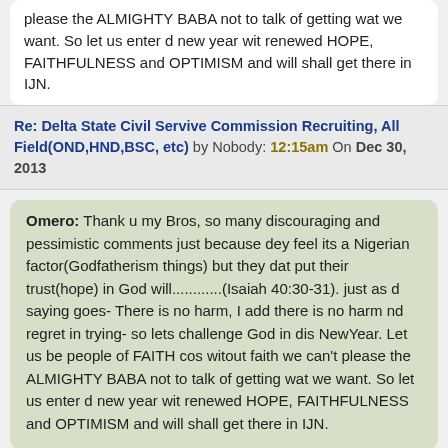please the ALMIGHTY BABA not to talk of getting wat we want. So let us enter d new year wit renewed HOPE, FAITHFULNESS and OPTIMISM and will shall get there in IJN.
Re: Delta State Civil Servive Commission Recruiting, All Field(OND,HND,BSC, etc) by Nobody: 12:15am On Dec 30, 2013
Omero: Thank u my Bros, so many discouraging and pessimistic comments just because dey feel its a Nigerian factor(Godfatherism things) but they dat put their trust(hope) in God will............(Isaiah 40:30-31). just as d saying goes- There is no harm, I add there is no harm nd regret in trying- so lets challenge God in dis NewYear. Let us be people of FAITH cos witout faith we can't please the ALMIGHTY BABA not to talk of getting wat we want. So let us enter d new year wit renewed HOPE, FAITHFULNESS and OPTIMISM and will shall get there in IJN.
I pity you. You can't convert the devil to Christianity because you have faith. It is even most likely that people